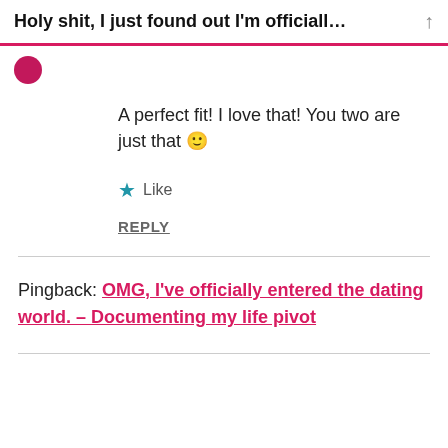Holy shit, I just found out I'm officiall...
A perfect fit! I love that! You two are just that 🙂
★ Like
REPLY
Pingback: OMG, I've officially entered the dating world. – Documenting my life pivot